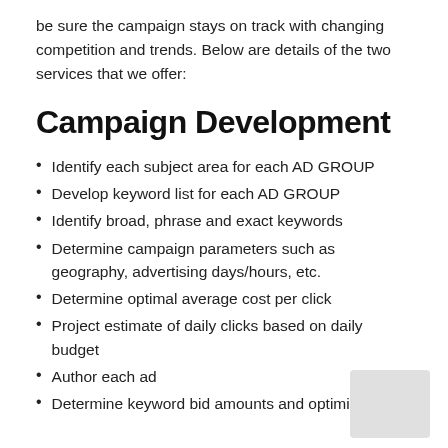be sure the campaign stays on track with changing competition and trends. Below are details of the two services that we offer:
Campaign Development
Identify each subject area for each AD GROUP
Develop keyword list for each AD GROUP
Identify broad, phrase and exact keywords
Determine campaign parameters such as geography, advertising days/hours, etc.
Determine optimal average cost per click
Project estimate of daily clicks based on daily budget
Author each ad
Determine keyword bid amounts and optimize